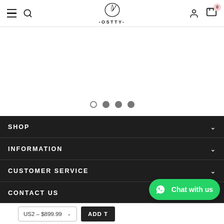OSTTY — navigation header with hamburger, search, logo, user, and cart icons
[Figure (screenshot): Carousel slider dot indicators: one empty circle and three filled grey circles]
SHOP
INFORMATION
CUSTOMER SERVICE
CONTACT US
[Figure (other): Chat with us WhatsApp widget button in green]
US2 – $899.99
ADD T